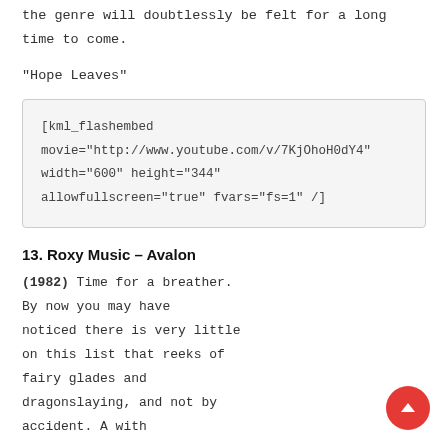the genre will doubtlessly be felt for a long time to come.
"Hope Leaves"
[kml_flashembed movie="http://www.youtube.com/v/7KjOhoH0dY4" width="600" height="344" allowfullscreen="true" fvars="fs=1" /]
13. Roxy Music – Avalon
(1982) Time for a breather. By now you may have noticed there is very little on this list that reeks of fairy glades and dragonslaying, and not by accident. A with...